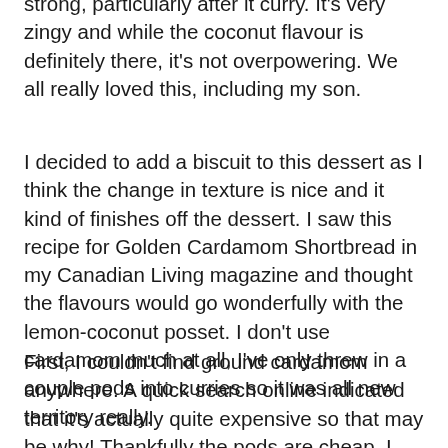strong, particularly after it curry. It's very zingy and while the coconut flavour is definitely there, it's not overpowering. We all really loved this, including my son.
I decided to add a biscuit to this dessert as I think the change in texture is nice and it kind of finishes off the dessert. I saw this recipe for Golden Cardamom Shortbread in my Canadian Living magazine and thought the flavours would go wonderfully with the lemon-coconut posset. I don't use cardamom much at all, I've only threw in a couple pods into curries so it was all new territory really.
First, I couldn't find ground cardamom anywhere. A quick search online indicated that it's actually quite expensive so that may be why! Thankfully the pods are cheap, I already had a jar, and I do have a spice grinder, so I made my own. If you have a spice grinder I highly recommend it as this came out so